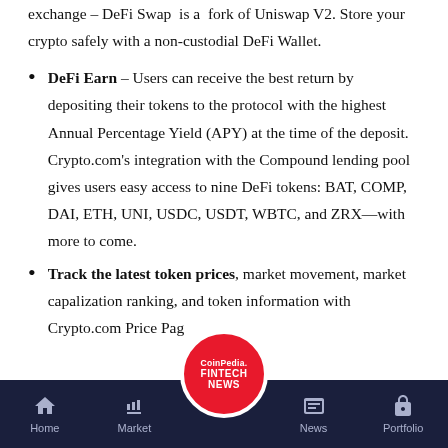exchange – DeFi Swap is a fork of Uniswap V2. Store your crypto safely with a non-custodial DeFi Wallet.
DeFi Earn – Users can receive the best return by depositing their tokens to the protocol with the highest Annual Percentage Yield (APY) at the time of the deposit. Crypto.com's integration with the Compound lending pool gives users easy access to nine DeFi tokens: BAT, COMP, DAI, ETH, UNI, USDC, USDT, WBTC, and ZRX—with more to come.
Track the latest token prices, market movement, market capitalization ranking, and token information with Crypto.com Price Pag...
Home | Market | News | Portfolio